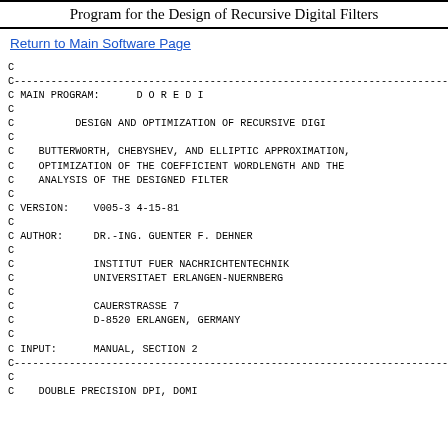Program for the Design of Recursive Digital Filters
Return to Main Software Page
C
C---...
C MAIN PROGRAM:      D O R E D I
C
C          DESIGN AND OPTIMIZATION OF RECURSIVE DIGI
C
C    BUTTERWORTH, CHEBYSHEV, AND ELLIPTIC APPROXIMATION,
C    OPTIMIZATION OF THE COEFFICIENT WORDLENGTH AND THE
C    ANALYSIS OF THE DESIGNED FILTER
C
C VERSION:    V005-3 4-15-81
C
C AUTHOR:     DR.-ING. GUENTER F. DEHNER
C
C             INSTITUT FUER NACHRICHTENTECHNIK
C             UNIVERSITAET ERLANGEN-NUERNBERG
C
C             CAUERSTRASSE 7
C             D-8520 ERLANGEN, GERMANY
C
C INPUT:      MANUAL, SECTION 2
C---...
C
C    DOUBLE PRECISION DPI, DOMI